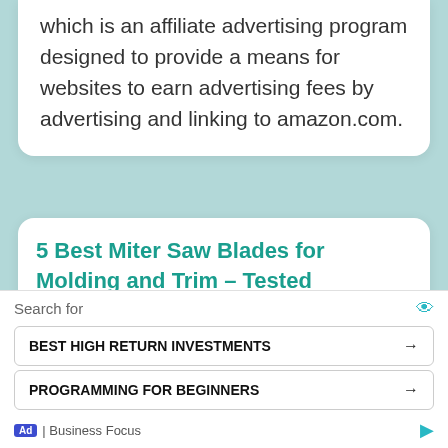which is an affiliate advertising program designed to provide a means for websites to earn advertising fees by advertising and linking to amazon.com.
5 Best Miter Saw Blades for Molding and Trim – Tested
[Figure (photo): Promotional image with teal background and white bold italic text reading 'Best Miter Saw Blade for Molding and' with a dark saw blade image on the right side]
Search for
BEST HIGH RETURN INVESTMENTS →
PROGRAMMING FOR BEGINNERS →
Ad | Business Focus